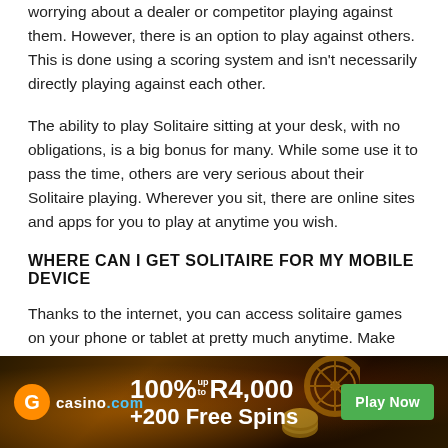worrying about a dealer or competitor playing against them. However, there is an option to play against others. This is done using a scoring system and isn't necessarily directly playing against each other.
The ability to play Solitaire sitting at your desk, with no obligations, is a big bonus for many. While some use it to pass the time, others are very serious about their Solitaire playing. Wherever you sit, there are online sites and apps for you to play at anytime you wish.
WHERE CAN I GET SOLITAIRE FOR MY MOBILE DEVICE
Thanks to the internet, you can access solitaire games on your phone or tablet at pretty much anytime. Make sure you have a decent signal and you are ready to go. You can either choose to download the app to your phone, or play through your browser.
[Figure (infographic): Casino.com advertisement banner: orange casino.com logo, 100% up to R4,000 +200 Free Spins offer, green Play Now button, dark fiery background]